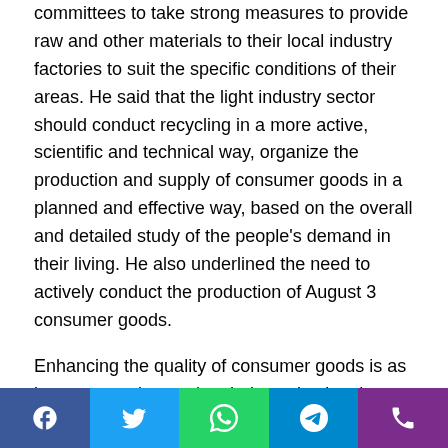committees to take strong measures to provide raw and other materials to their local industry factories to suit the specific conditions of their areas. He said that the light industry sector should conduct recycling in a more active, scientific and technical way, organize the production and supply of consumer goods in a planned and effective way, based on the overall and detailed study of the people's demand in their living. He also underlined the need to actively conduct the production of August 3 consumer goods.
Enhancing the quality of consumer goods is as important as increasing their production, he said, calling for enhancing the role of scientists and technicians, raising the level of technical skill of producers and strengthening quality inspection so as to produce quality goods.
He stressed that the Party organizations in the light industry...
[Figure (other): Social media sharing bar with Facebook, Twitter, WhatsApp, Telegram, and phone icons]